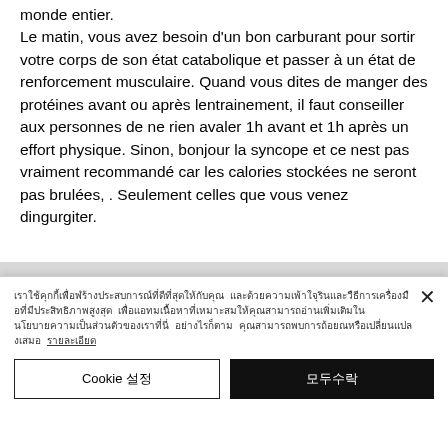monde entier. Le matin, vous avez besoin d'un bon carburant pour sortir votre corps de son état catabolique et passer à un état de renforcement musculaire. Quand vous dites de manger des protéines avant ou après lentrainement, il faut conseiller aux personnes de ne rien avaler 1h avant et 1h après un effort physique. Sinon, bonjour la syncope et ce nest pas vraiment recommandé car les calories stockées ne seront pas brulées, . Seulement celles que vous venez dingurgiter.
[Figure (screenshot): Cookie consent overlay with close button (×), cookie policy text in Thai script with an underlined link, and two buttons: 'Cookie 설정' (Cookie settings, white background) and '모두수락' (Accept all, black background).]